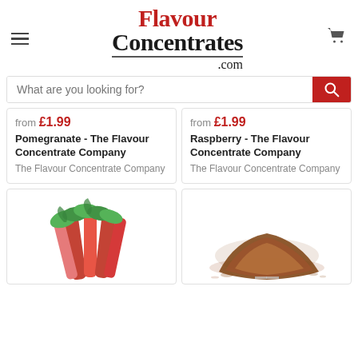FlavourConcentrates.com
What are you looking for?
from £1.99
Pomegranate - The Flavour Concentrate Company
The Flavour Concentrate Company
from £1.99
Raspberry - The Flavour Concentrate Company
The Flavour Concentrate Company
[Figure (photo): Rhubarb stalks with green leaves on white background]
[Figure (photo): Pile of brown powder/ground spice on white background]